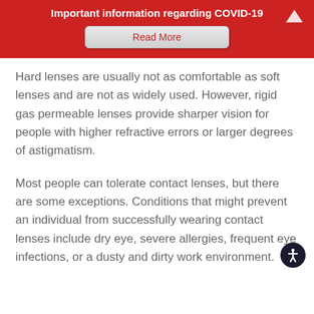Important information regarding COVID-19
Read More
Hard lenses are usually not as comfortable as soft lenses and are not as widely used. However, rigid gas permeable lenses provide sharper vision for people with higher refractive errors or larger degrees of astigmatism.
Most people can tolerate contact lenses, but there are some exceptions. Conditions that might prevent an individual from successfully wearing contact lenses include dry eye, severe allergies, frequent eye infections, or a dusty and dirty work environment.